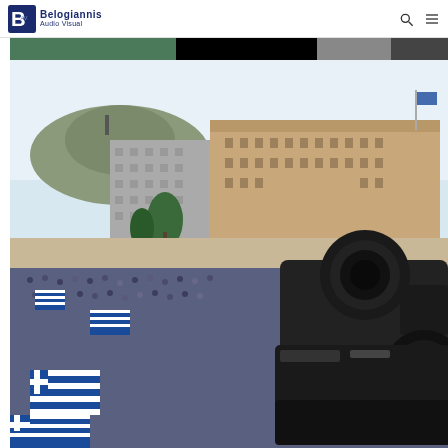Belogiannis Audio Visual
[Figure (photo): Strip of three thumbnail images partially visible at top of content area]
[Figure (photo): Aerial photograph of a large crowd gathered in Syntagma Square, Athens, in front of the Greek Parliament building, with a video camera in the foreground right side]